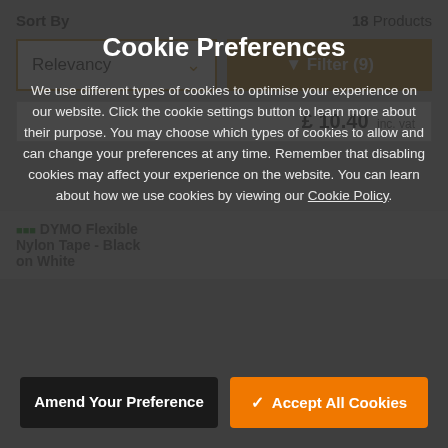Sort By
18 Products
Relevancy
Filter (9)
£ 10.40 inc. VAT
DYMO Flexible Nylon Tape - Black on White
Cookie Preferences
We use different types of cookies to optimise your experience on our website. Click the cookie settings button to learn more about their purpose. You may choose which types of cookies to allow and can change your preferences at any time. Remember that disabling cookies may affect your experience on the website. You can learn about how we use cookies by viewing our Cookie Policy.
Amend Your Preference
Accept All Cookies